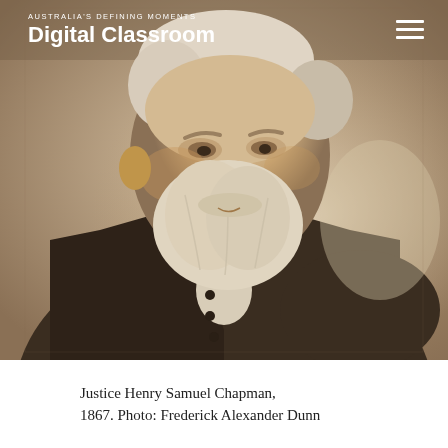AUSTRALIA'S DEFINING MOMENTS Digital Classroom
[Figure (photo): Sepia-toned historical portrait photograph of Justice Henry Samuel Chapman, an elderly bearded man in formal Victorian-era dark coat, taken in 1867 by Frederick Alexander Dunn.]
Justice Henry Samuel Chapman, 1867. Photo: Frederick Alexander Dunn